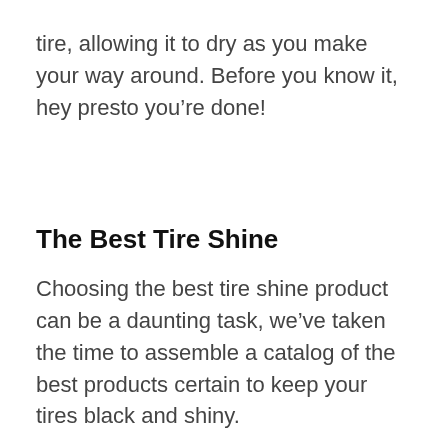tire, allowing it to dry as you make your way around. Before you know it, hey presto you're done!
The Best Tire Shine
Choosing the best tire shine product can be a daunting task, we've taken the time to assemble a catalog of the best products certain to keep your tires black and shiny.